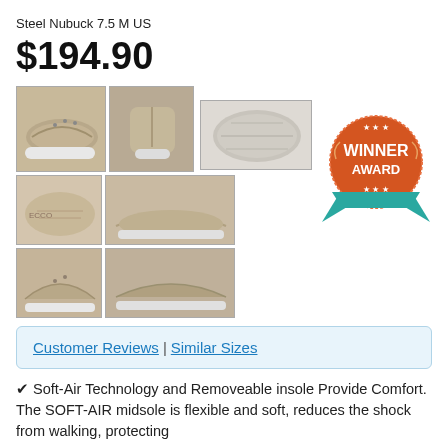Steel Nubuck 7.5 M US
$194.90
[Figure (photo): Product photo gallery of a taupe/grey nubuck sneaker shoe showing 6 thumbnail views: side angle, back, sole, insole, lateral side, and front side views. Plus a Winner Award badge.]
Customer Reviews | Similar Sizes
✔ Soft-Air Technology and Removeable insole Provide Comfort. The SOFT-AIR midsole is flexible and soft, reduces the shock from walking, protecting